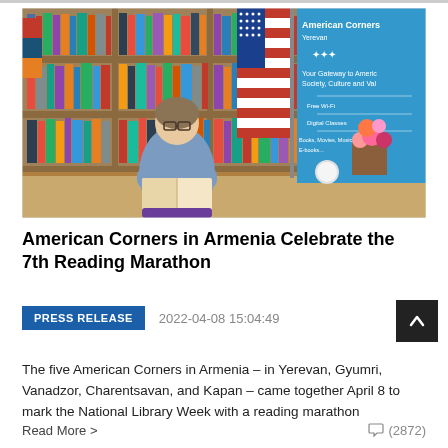[Figure (photo): A woman in a blue blazer sits at a desk reading a book inside a library room with wooden bookshelves filled with colorful books. An American flag and an Armenian flag are visible in the background, along with an American Corners banner that reads 'Your Gateway to American Society, Culture and Values'. Flowers are on the desk.]
American Corners in Armenia Celebrate the 7th Reading Marathon
PRESS RELEASE
2022-04-08 15:04:49
The five American Corners in Armenia – in Yerevan, Gyumri, Vanadzor, Charentsavan, and Kapan – came together April 8 to mark the National Library Week with a reading marathon
Read More >
(2872)